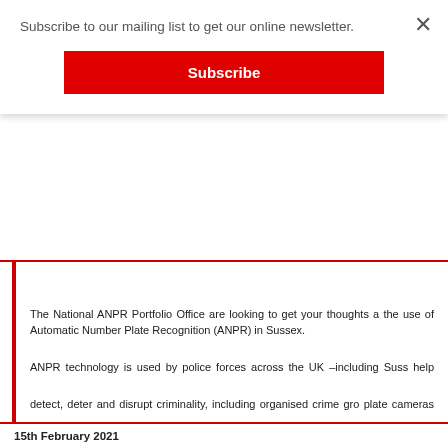Subscribe to our mailing list to get our online newsletter.
[Figure (other): Red Subscribe button]
The National ANPR Portfolio Office are looking to get your thoughts about the use of Automatic Number Plate Recognition (ANPR) in Sussex.
ANPR technology is used by police forces across the UK –including Sussex– to help detect, deter and disrupt criminality, including organised crime groups. The plate cameras are governed by strict codes of practice. They are most to to spot stolen vehicles, vehicles that have been involved in crime or to help locate. The data collect can also be used in investigations.
You've probably seen how ANPR works from TV programmes or you may have been in a park which uses the system to keep you safe. Just in case you haven't, here's a video about how ANPR Is used. The video shows the use of ANPR in West Midlands but it applies person. To watch it, click here ANPR Video.
ANPR is a vital tool to help policing stay one step ahead of criminals and technology can play an important part in how we do this. The anonymous survey will only take a few minutes to complete.
Click here to complete the survey ANPR Survey Live Link.
15th February 2021